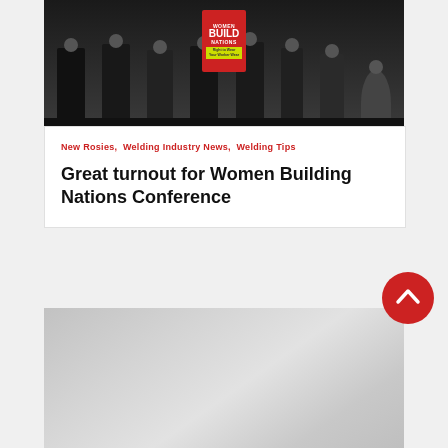[Figure (photo): Group of people in black shirts standing on a stage in front of a podium with a red 'Women Build Nations' sign]
New Rosies, Welding Industry News, Welding Tips
Great turnout for Women Building Nations Conference
[Figure (photo): Partially visible gray/white photo at the bottom of the page]
[Figure (other): Red circular scroll-to-top button with white chevron arrow]